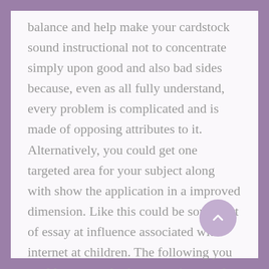balance and help make your cardstock sound instructional not to concentrate simply upon good and also bad sides because, even as all fully understand, every problem is complicated and is made of opposing attributes to it. Alternatively, you could get one targeted area for your subject along with show the application in a improved dimension. Like this could be some sort of essay at influence associated with internet at children. The following you could converse both concerning good and also the bad factors to the world-wide-web influence picking the specific communal group of children.